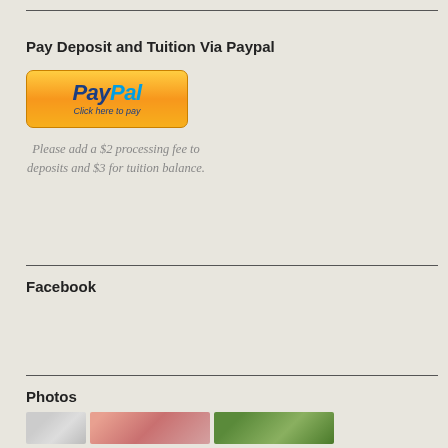Pay Deposit and Tuition Via Paypal
[Figure (other): PayPal button with 'Click here to pay' text on a gold gradient background]
Please add a $2 processing fee to deposits and $3 for tuition balance.
Facebook
Photos
[Figure (photo): Three thumbnail photos in a horizontal strip: a light/grey image on left, a pink/red toned image in center, and a green nature image on right]